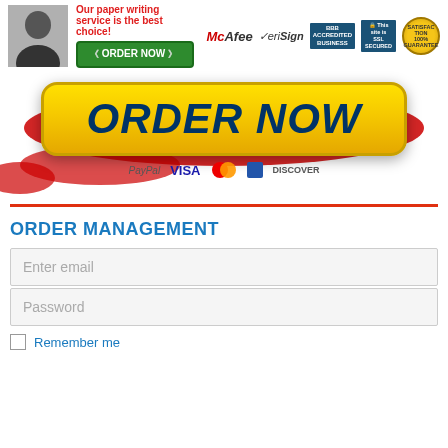[Figure (infographic): Top section with person silhouette, ORDER NOW green button, tagline text, and trust badges (McAfee, VeriSign, BBB Accredited Business, SSL Secured, 100% Satisfaction Guarantee)]
[Figure (infographic): Large yellow ORDER NOW button with dark red paint splatter background and payment icons (PayPal, Visa, Mastercard, Amex, Discover)]
ORDER MANAGEMENT
Enter email
Password
Remember me